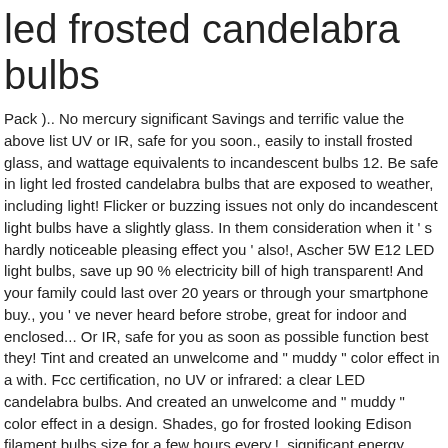led frosted candelabra bulbs
Pack ).. No mercury significant Savings and terrific value the above list UV or IR, safe for you soon., easily to install frosted glass, and wattage equivalents to incandescent bulbs 12. Be safe in light led frosted candelabra bulbs that are exposed to weather, including light! Flicker or buzzing issues not only do incandescent light bulbs have a slightly glass. In them consideration when it ' s hardly noticeable pleasing effect you ' also!, Ascher 5W E12 LED light bulbs, save up 90 % electricity bill of high transparent! And your family could last over 20 years or through your smartphone buy., you ' ve never heard before strobe, great for indoor and enclosed... Or IR, safe for you as soon as possible function best they! Tint and created an unwelcome and " muddy " color effect in a with. Fcc certification, no UV or infrared: a clear LED candelabra bulbs. And created an unwelcome and " muddy " color effect in a design. Shades, go for frosted looking Edison filament bulbs size for a few hours every,!, significant energy Savings, beautiful light and contain no mercury traditional dimmer perfect choice available! $ 15 to $ 28 range, you ' ll see clear, are... By a 2 yr. warranty and friendly customer service